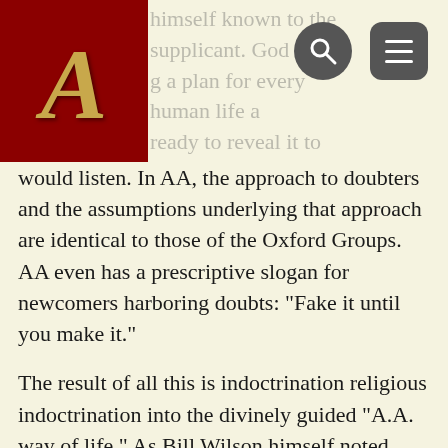himself known to the supplicant. God having a plan for every human life and ready to reveal it to anyone who
would listen. In AA, the approach to doubters and the assumptions underlying that approach are identical to those of the Oxford Groups. AA even has a prescriptive slogan for newcomers harboring doubts: “Fake it until you make it.”
The result of all this is indoctrination religious indoctrination into the divinely guided “A.A. way of life.” As Bill Wilson himself noted, “Some A.A.s say, ‘I don’t need religion, because A.A. is my religion’” (Wilson, 1988, p. 178). Another of his comments sheds more light on what that religion is: